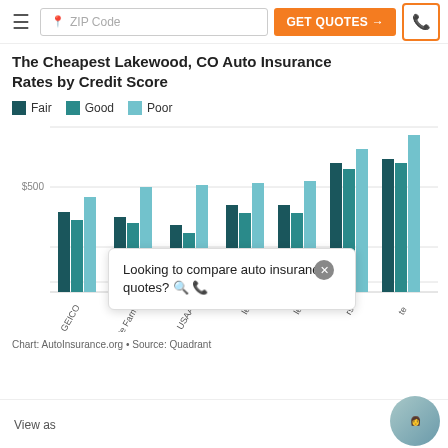ZIP Code | GET QUOTES →
The Cheapest Lakewood, CO Auto Insurance Rates by Credit Score
[Figure (grouped-bar-chart): The Cheapest Lakewood, CO Auto Insurance Rates by Credit Score]
Chart: AutoInsurance.org • Source: Quadrant
Looking to compare auto insurance quotes? 🔍 📞
View as...